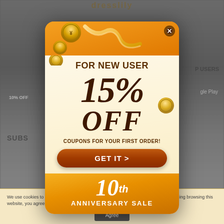[Figure (screenshot): Dressily app website screenshot in background, blurred and darkened]
[Figure (infographic): Promotional popup modal for Dressily 10th Anniversary Sale offering 15% OFF coupon for new users on first order, with golden coins and ribbon decorations, orange gradient background at top and bottom, cream center section, brown 'GET IT >' button, and yellow '10th ANNIVERSARY SALE' footer]
We use cookies to improve your experience. Please take our privacy policy. By continuing browsing this website, you agree to our use of cookies.
Agree